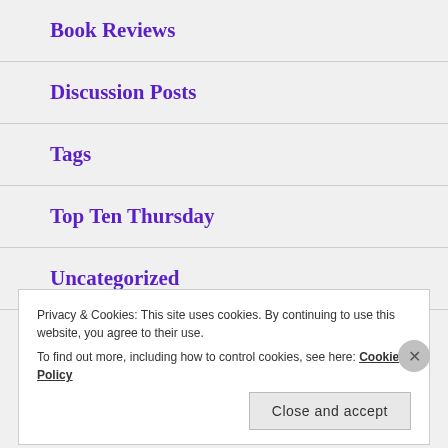Book Reviews
Discussion Posts
Tags
Top Ten Thursday
Uncategorized
Privacy & Cookies: This site uses cookies. By continuing to use this website, you agree to their use.
To find out more, including how to control cookies, see here: Cookie Policy
Close and accept